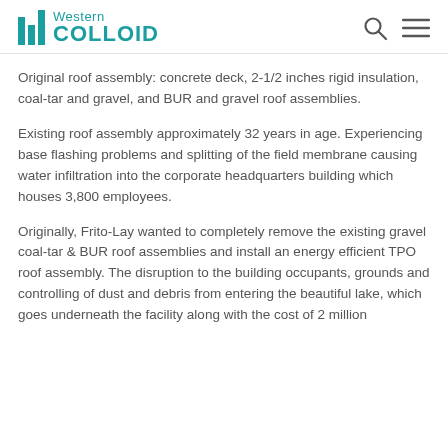Western Colloid
Original roof assembly: concrete deck, 2-1/2 inches rigid insulation, coal-tar and gravel, and BUR and gravel roof assemblies.
Existing roof assembly approximately 32 years in age. Experiencing base flashing problems and splitting of the field membrane causing water infiltration into the corporate headquarters building which houses 3,800 employees.
Originally, Frito-Lay wanted to completely remove the existing gravel coal-tar & BUR roof assemblies and install an energy efficient TPO roof assembly. The disruption to the building occupants, grounds and controlling of dust and debris from entering the beautiful lake, which goes underneath the facility along with the cost of 2 million